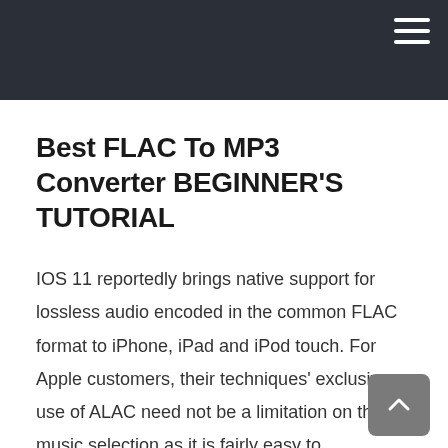Best FLAC To MP3 Converter BEGINNER'S TUTORIAL
IOS 11 reportedly brings native support for lossless audio encoded in the common FLAC format to iPhone, iPad and iPod touch. For Apple customers, their techniques' exclusive use of ALAC need not be a limitation on their music selection as it is fairly easy to